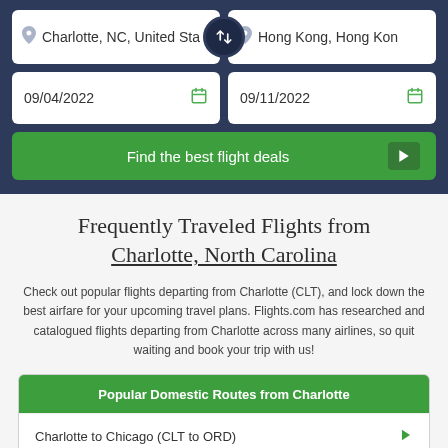Charlotte, NC, United Sta...
Hong Kong, Hong Kon...
09/04/2022
09/11/2022
Find the best flight deals
Frequently Traveled Flights from Charlotte, North Carolina
Check out popular flights departing from Charlotte (CLT), and lock down the best airfare for your upcoming travel plans. Flights.com has researched and catalogued flights departing from Charlotte across many airlines, so quit waiting and book your trip with us!
Popular Domestic Routes from Charlotte
Charlotte to Chicago (CLT to ORD)